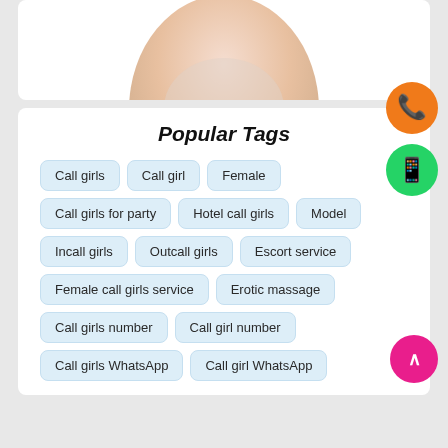[Figure (photo): Partial photo of a person, cropped at top, showing lower portion]
Popular Tags
Call girls
Call girl
Female
Call girls for party
Hotel call girls
Model
Incall girls
Outcall girls
Escort service
Female call girls service
Erotic massage
Call girls number
Call girl number
Call girls WhatsApp
Call girl WhatsApp